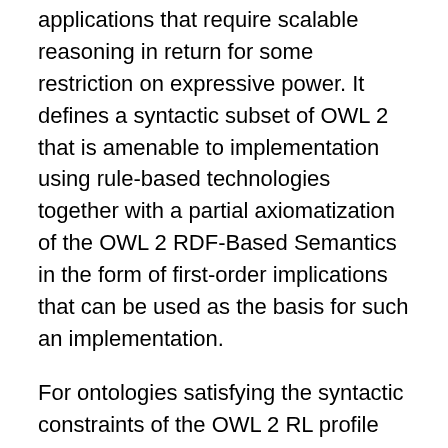applications that require scalable reasoning in return for some restriction on expressive power. It defines a syntactic subset of OWL 2 that is amenable to implementation using rule-based technologies together with a partial axiomatization of the OWL 2 RDF-Based Semantics in the form of first-order implications that can be used as the basis for such an implementation.
For ontologies satisfying the syntactic constraints of the OWL 2 RL profile then a suitable rule-based implementation can provide sound and complete entailment checking and conjunctive query answering (so long as the query also meets the OWL 2 RL syntactic restrictions).
The purpose of this note is to provide a translation of the OWL 2 RL rules into RIF notation. The aim is that this translation be faithful to the OWL 2 RL semantics so that the follow theorem should hold: